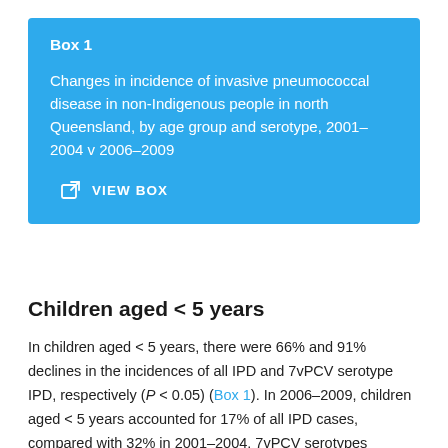[Figure (other): Blue box callout labeled 'Box 1' with title 'Changes in incidence of invasive pneumococcal disease in non-Indigenous people in north Queensland, by age group and serotype, 2001–2004 v 2006–2009' and a VIEW BOX link/button]
Children aged < 5 years
In children aged < 5 years, there were 66% and 91% declines in the incidences of all IPD and 7vPCV serotype IPD, respectively (P < 0.05) (Box 1). In 2006–2009, children aged < 5 years accounted for 17% of all IPD cases, compared with 32% in 2001–2004. 7vPCV serotypes accounted for 21% of all IPD cases in these children in 2006–2009, compared with 83% in 2001–